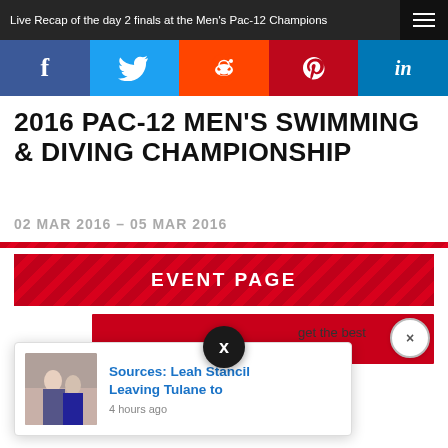Live Recap of the day 2 finals at the Men's Pac-12 Champions
[Figure (infographic): Social media share buttons: Facebook (blue), Twitter (light blue), Reddit (orange), Pinterest (red), LinkedIn (blue)]
2016 PAC-12 MEN'S SWIMMING & DIVING CHAMPIONSHIP
02 MAR 2016 – 05 MAR 2016
[Figure (other): EVENT PAGE red button with diagonal stripe pattern]
[Figure (other): Popup notification card: Sources: Leah Stancil Leaving Tulane to — 4 hours ago, with thumbnail image of two people]
get the best